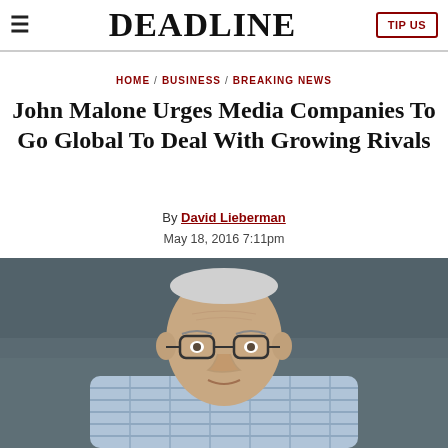DEADLINE | TIP US
HOME / BUSINESS / BREAKING NEWS
John Malone Urges Media Companies To Go Global To Deal With Growing Rivals
By David Lieberman
May 18, 2016 7:11pm
[Figure (photo): Portrait photo of John Malone, an older man with glasses wearing a plaid shirt, photographed outdoors with a blurred background.]